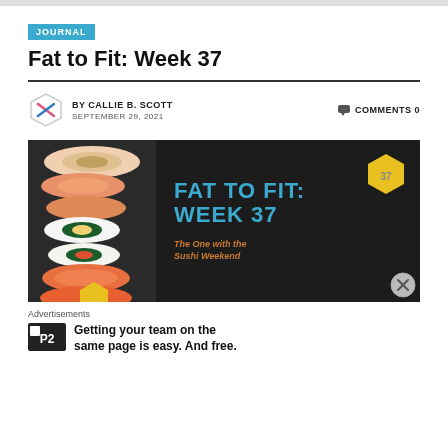JOURNAL
Fat to Fit: Week 37
BY CALLIE B. SCOTT SEPTEMBER 29, 2021 COMMENTS 0
[Figure (photo): Hero banner image showing sushi on the left side and dark background text on the right reading FAT TO FIT: WEEK 37 in teal, with subtitle 'The One with the Sushi Weekend' in orange, plus a yellow hexagon badge.]
Advertisements
Getting your team on the same page is easy. And free.